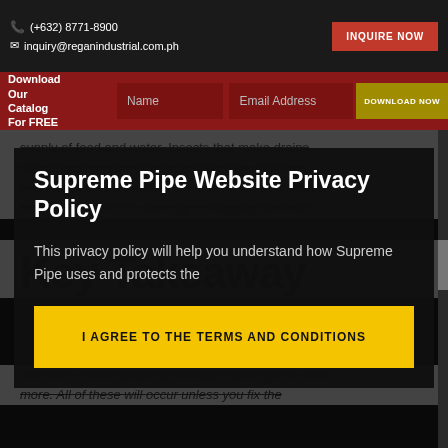(+632) 8771-8900 | inquiry@reganindustrial.com.ph | INQUIRE NOW
Download Our Catalog For FREE | Name | Email Address | DOWNLOAD NOW
supply of food and water. Insects that make drains their breeding ground include drain flies, fruit flies, and phorid flies. To get rid of these pests, address the root cause—which is done by unclogging the drain
Supreme Pipe Website Privacy Policy
This privacy policy will help you understand how Supreme Pipe uses and protects the
Key Takeaway
I AGREE TO THE TERMS AND CONDITIONS
diseases, lead to property damage, attract pests, and more. All of these will occur unless you fix the